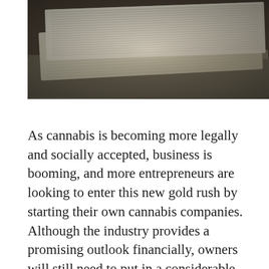[Figure (photo): A close-up photograph of stacked US dollar bills fanned out, showing the texture of the paper currency with visible serial numbers and fine line patterns on the bills.]
As cannabis is becoming more legally and socially accepted, business is booming, and more entrepreneurs are looking to enter this new gold rush by starting their own cannabis companies. Although the industry provides a promising outlook financially, owners will still need to put in a considerable investment to get their ventures off the ground.